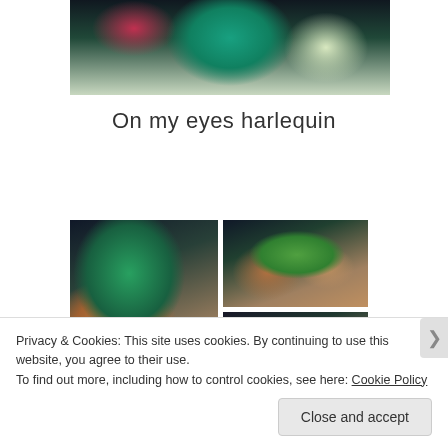[Figure (photo): Partial top view of a person with teal/green colored hair and colorful accessories, cropped at top of page]
On my eyes harlequin
[Figure (photo): Collage of three makeup photos: left large - woman with teal hair and green harlequin eye makeup looking at camera; top right - close-up of open eye with green eyeshadow and liner; bottom right - close-up of closed eye with green and yellow eyeshadow]
Privacy & Cookies: This site uses cookies. By continuing to use this website, you agree to their use.
To find out more, including how to control cookies, see here: Cookie Policy
Close and accept